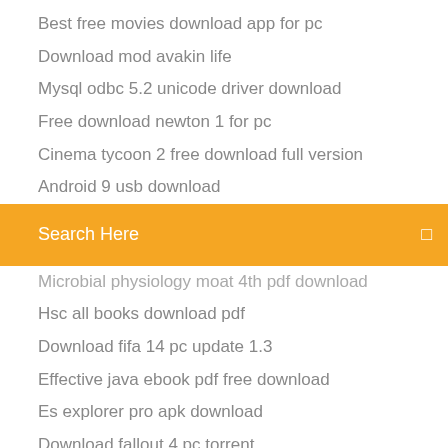Best free movies download app for pc
Download mod avakin life
Mysql odbc 5.2 unicode driver download
Free download newton 1 for pc
Cinema tycoon 2 free download full version
Android 9 usb download
[Figure (screenshot): Orange search bar with text 'Search Here' and a small icon on the right]
Microbial physiology moat 4th pdf download
Hsc all books download pdf
Download fifa 14 pc update 1.3
Effective java ebook pdf free download
Es explorer pro apk download
Download fallout 4 pc torrent
Logo maker online free download
Curse of the crescent isle dx pc download
Download mastermind app for mastercorp
Download all tabs of pdf